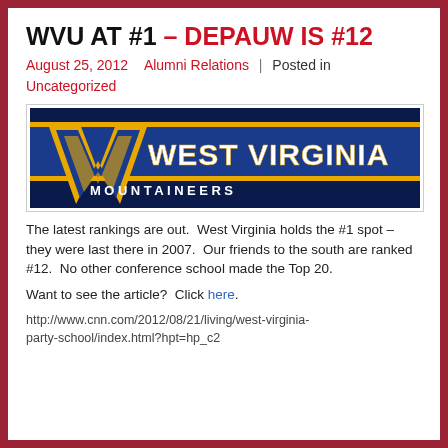WVU AT #1 – DEPAUW IS #12
August 25, 2012    Alumni Relations    Posted in  Uncategorized
[Figure (logo): West Virginia Mountaineers logo banner with gold WV logo on dark blue background and text 'WEST VIRGINIA MOUNTAINEERS']
The latest rankings are out.  West Virginia holds the #1 spot – they were last there in 2007.  Our friends to the south are ranked #12.  No other conference school made the Top 20.
Want to see the article?  Click here.
http://www.cnn.com/2012/08/21/living/west-virginia-party-school/index.html?hpt=hp_c2